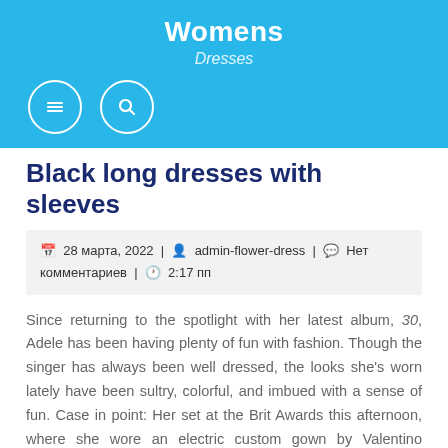Womens
Dresses
Black long dresses with sleeves
28 марта, 2022 | admin-flower-dress | Нет комментариев | 2:17 пп
Since returning to the spotlight with her latest album, 30, Adele has been having plenty of fun with fashion. Though the singer has always been well dressed, the looks she's worn lately have been sultry, colorful, and imbued with a sense of fun. Case in point: Her set at the Brit Awards this afternoon, where she wore an electric custom gown by Valentino creative…